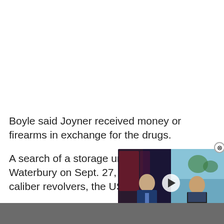Boyle said Joyner received money or firearms in exchange for the drugs.
A search of a storage unit J… Waterbury on Sept. 27, 201… caliber revolvers, the US At…
[Figure (screenshot): Embedded video overlay showing two news anchors/commentators on a TV broadcast with a play button in the center. The lower left shows 'WALL STREET' text branding.]